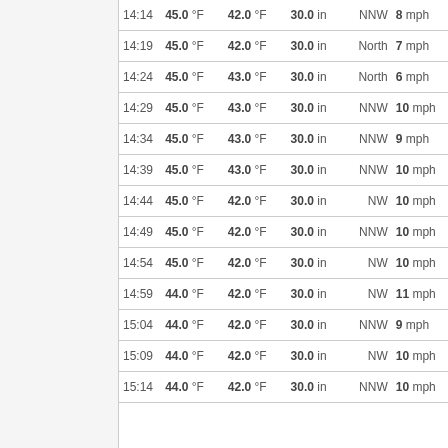| Time | Temp | Dew Point | Pressure | Direction | Wind |
| --- | --- | --- | --- | --- | --- |
| 14:14 | 45.0 °F | 42.0 °F | 30.0 in | NNW | 8 mph |
| 14:19 | 45.0 °F | 42.0 °F | 30.0 in | North | 7 mph |
| 14:24 | 45.0 °F | 43.0 °F | 30.0 in | North | 6 mph |
| 14:29 | 45.0 °F | 43.0 °F | 30.0 in | NNW | 10 mph |
| 14:34 | 45.0 °F | 43.0 °F | 30.0 in | NNW | 9 mph |
| 14:39 | 45.0 °F | 43.0 °F | 30.0 in | NNW | 10 mph |
| 14:44 | 45.0 °F | 42.0 °F | 30.0 in | NW | 10 mph |
| 14:49 | 45.0 °F | 42.0 °F | 30.0 in | NNW | 10 mph |
| 14:54 | 45.0 °F | 42.0 °F | 30.0 in | NW | 10 mph |
| 14:59 | 44.0 °F | 42.0 °F | 30.0 in | NW | 11 mph |
| 15:04 | 44.0 °F | 42.0 °F | 30.0 in | NNW | 9 mph |
| 15:09 | 44.0 °F | 42.0 °F | 30.0 in | NW | 10 mph |
| 15:14 | 44.0 °F | 42.0 °F | 30.0 in | NNW | 10 mph |